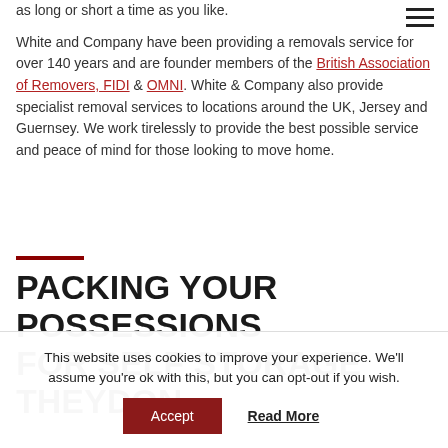as long or short a time as you like.
White and Company have been providing a removals service for over 140 years and are founder members of the British Association of Removers, FIDI & OMNI. White & Company also provide specialist removal services to locations around the UK, Jersey and Guernsey. We work tirelessly to provide the best possible service and peace of mind for those looking to move home.
PACKING YOUR POSSESSIONS FOR SELF STORAGE THEYDON
This website uses cookies to improve your experience. We'll assume you're ok with this, but you can opt-out if you wish.
Accept   Read More